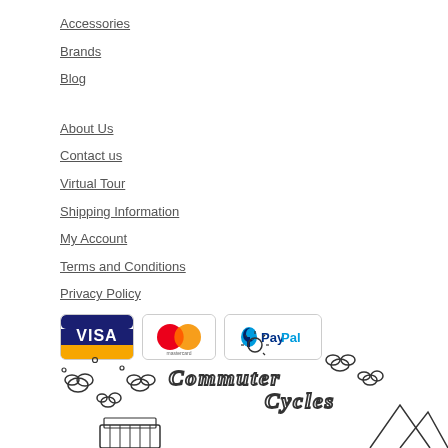Accessories
Brands
Blog
About Us
Contact us
Virtual Tour
Shipping Information
My Account
Terms and Conditions
Privacy Policy
[Figure (logo): Payment method logos: Visa, Mastercard, PayPal]
[Figure (illustration): Commuter Cycles logo illustration with clouds, mountains, and decorative hand-drawn text]